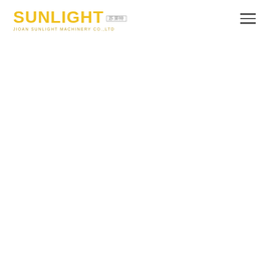SUNLIGHT 苏莱特 JIOAN SUNLIGHT MACHINERY CO.,LTD